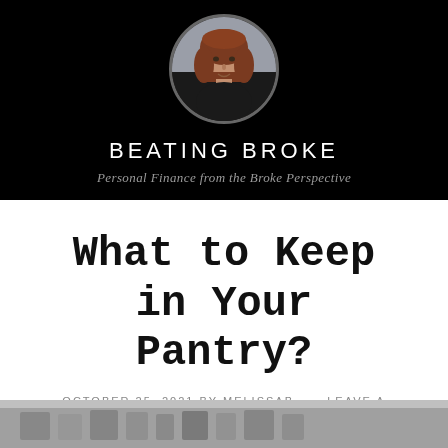[Figure (photo): Circular portrait photo of a woman with medium-length reddish-brown hair, smiling slightly, wearing a black top, against an outdoor background.]
BEATING BROKE
Personal Finance from the Broke Perspective
What to Keep in Your Pantry?
OCTOBER 25, 2021 BY MELISSAB — LEAVE A COMMENT
[Figure (photo): Partial view of a pantry shelf with food items, shown at the bottom of the page.]